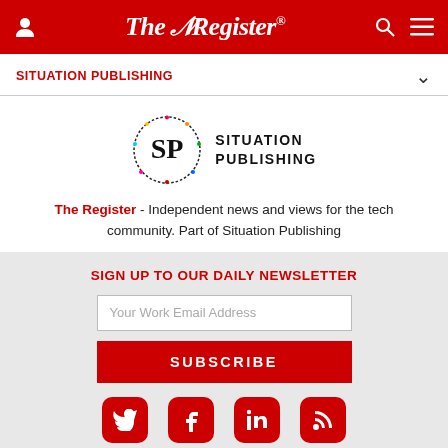The Register
SITUATION PUBLISHING
[Figure (logo): Situation Publishing logo: SP monogram in a circular dotted border with 'SITUATION PUBLISHING' text]
The Register - Independent news and views for the tech community. Part of Situation Publishing
SIGN UP TO OUR DAILY NEWSLETTER
Your Work Email Address
SUBSCRIBE
[Figure (infographic): Social media icons: Twitter, Facebook, LinkedIn, RSS — white icons on red rounded-square backgrounds]